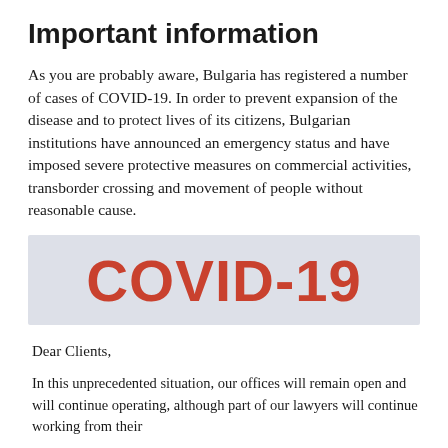Important information
As you are probably aware, Bulgaria has registered a number of cases of COVID-19. In order to prevent expansion of the disease and to protect lives of its citizens, Bulgarian institutions have announced an emergency status and have imposed severe protective measures on commercial activities, transborder crossing and movement of people without reasonable cause.
[Figure (infographic): Light grey banner with large red bold text reading 'COVID-19']
Dear Clients,
In this unprecedented situation, our offices will remain open and will continue operating, although part of our lawyers will continue working from their